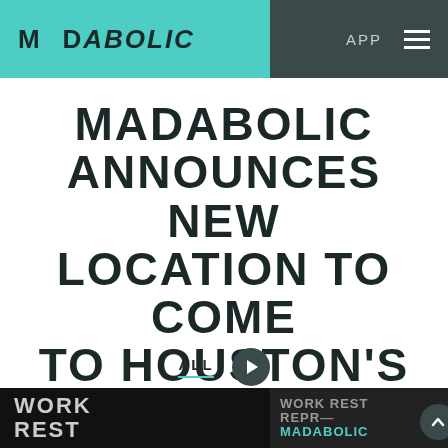[Figure (logo): MADabolic logo in dark text on teal/turquoise background, with APP and hamburger menu on dark grey right section]
MADABOLIC ANNOUNCES NEW LOCATION TO COME TO HOUSTON'S RAILWAY HEIGHTS
ALL
[Figure (screenshot): Bottom strip showing WORK REST text on dark background with MADabolic logo in teal on the right side]